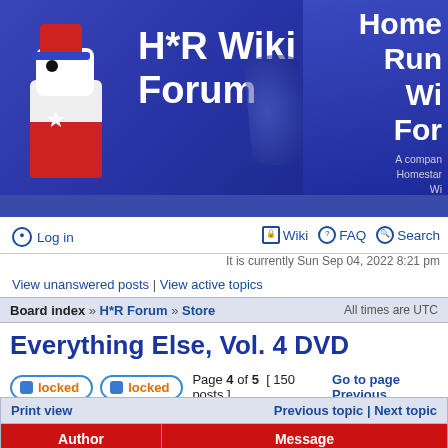[Figure (screenshot): H*R Wiki Forum banner with cartoon character logo and title text]
Log in
Wiki   FAQ   Search
It is currently Sun Sep 04, 2022 8:21 pm
View unanswered posts | View active topics
Board index » H*R Forum » Store    All times are UTC
Everything Else, Vol. 4 DVD
locked   locked   Page 4 of 5  [ 150 posts ]  Go to page Previous
| Author | Message |
| --- | --- |
| CaptainPastHisPrime | Post subject: Re: Everything Else, Vol. 4 DVD
Posted: Sun Feb 15, 2009 7:18 pm |